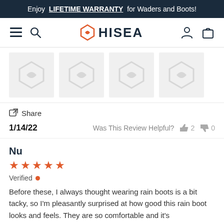Enjoy LIFETIME WARRANTY for Waders and Boots!
[Figure (logo): HISEA brand logo with navigation icons (hamburger menu, search, user account, shopping bag)]
[Figure (photo): Four image thumbnails showing HISEA product images (placeholder images with HISEA logo)]
Share
1/14/22   Was This Review Helpful?  👍 2  👎 0
Nu
★★★★★
Verified
Before these, I always thought wearing rain boots is a bit tacky, so I'm pleasantly surprised at how good this rain boot looks and feels. They are so comfortable and it's